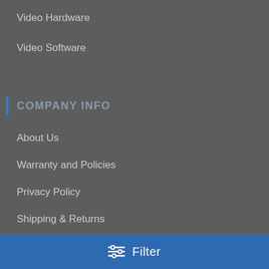Video Hardware
Video Software
COMPANY INFO
About Us
Warranty and Policies
Privacy Policy
Shipping & Returns
CUSTOMER SERVICES
Contact Us
Filter